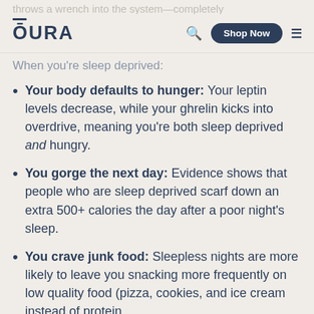throws a wrench into the system—completely
ŌURA | Search | Shop Now | Menu
When you're sleep deprived:
Your body defaults to hunger: Your leptin levels decrease, while your ghrelin kicks into overdrive, meaning you're both sleep deprived and hungry.
You gorge the next day: Evidence shows that people who are sleep deprived scarf down an extra 500+ calories the day after a poor night's sleep.
You crave junk food: Sleepless nights are more likely to leave you snacking more frequently on low quality food (pizza, cookies, and ice cream instead of protein,